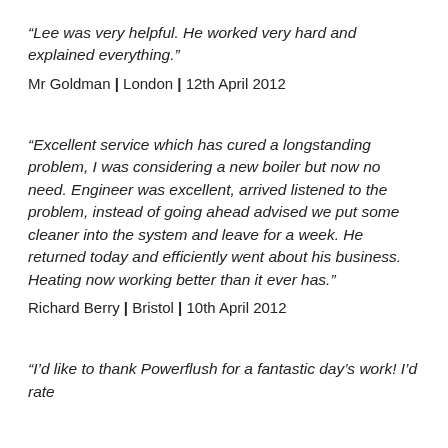“Lee was very helpful. He worked very hard and explained everything.”
Mr Goldman | London | 12th April 2012
“Excellent service which has cured a longstanding problem, I was considering a new boiler but now no need. Engineer was excellent, arrived listened to the problem, instead of going ahead advised we put some cleaner into the system and leave for a week. He returned today and efficiently went about his business. Heating now working better than it ever has.”
Richard Berry | Bristol | 10th April 2012
“I’d like to thank Powerflush for a fantastic day’s work! I’d rate